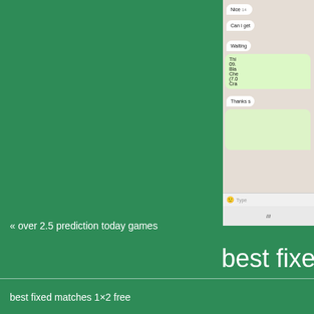[Figure (screenshot): Partial WhatsApp chat screenshot showing messages: 'Nice', 'Can i get', 'Waiting', a sent message bubble with partial text 'Thi... 09... Bla... Che... (7.0... Cra...', 'Thanks s...', a partially visible sent bubble, a type message input bar, and a bottom bar with 'III']
« over 2.5 prediction today games
best fixe
best fixed matches 1×2 free